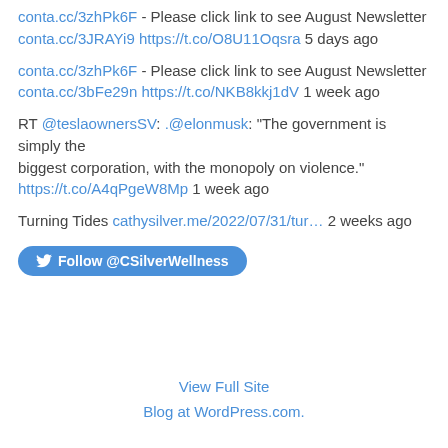conta.cc/3zhPk6F - Please click link to see August Newsletter conta.cc/3JRAYi9 https://t.co/O8U11Oqsra 5 days ago
conta.cc/3zhPk6F - Please click link to see August Newsletter conta.cc/3bFe29n https://t.co/NKB8kkj1dV 1 week ago
RT @teslaownersSV: .@elonmusk: "The government is simply the biggest corporation, with the monopoly on violence." https://t.co/A4qPgeW8Mp 1 week ago
Turning Tides cathysilver.me/2022/07/31/tur… 2 weeks ago
Follow @CSilverWellness
View Full Site
Blog at WordPress.com.